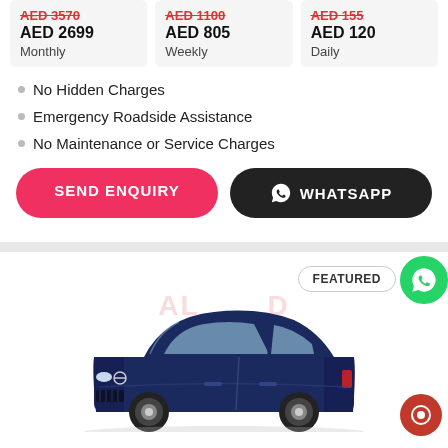AED 3570 (strikethrough) AED 2699 Monthly
AED 1100 (strikethrough) AED 805 Weekly
AED 155 (strikethrough) AED 120 Daily
No Hidden Charges
Emergency Roadside Assistance
No Maintenance or Service Charges
SEND ENQUIRY
WHATSAPP
FEATURED
[Figure (photo): Blue Nissan Kicks SUV with AL watermark logo overlay]